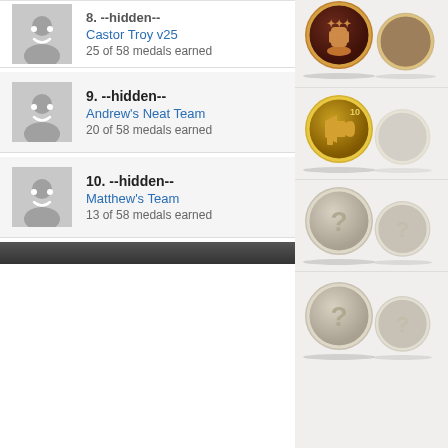8. --hidden-- / Castor Troy v25 / 25 of 58 medals earned
9. --hidden-- / Andrew's Neat Team / 20 of 58 medals earned
10. --hidden-- / Matthew's Team / 13 of 58 medals earned
[Figure (illustration): Bronze medal with raised fist and stars icon, partially visible second medal on right]
[Figure (illustration): Gold/bronze medal with megaphone and number 10, partially visible second greyed medal]
[Figure (illustration): Greyed out locked medal with question mark, partially visible second locked medal]
[Figure (illustration): Greyed out locked medal with question mark, partially visible second locked medal (lower row)]